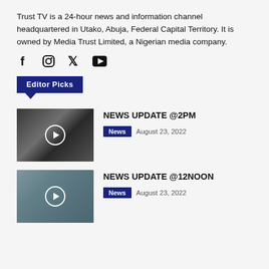Trust TV is a 24-hour news and information channel headquartered in Utako, Abuja, Federal Capital Territory. It is owned by Media Trust Limited, a Nigerian media company.
[Figure (infographic): Social media icons: Facebook, Instagram, Twitter, YouTube]
Editor Picks
[Figure (screenshot): Video thumbnail for NEWS UPDATE @2PM with play button overlay]
NEWS UPDATE @2PM
News   August 23, 2022
[Figure (screenshot): Video thumbnail for NEWS UPDATE @12NOON with play button overlay]
NEWS UPDATE @12NOON
News   August 23, 2022